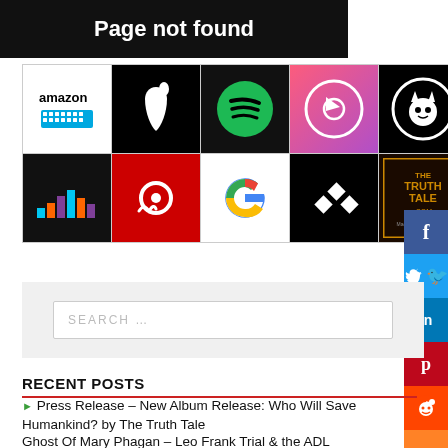Page not found
[Figure (screenshot): Grid of music/streaming service logos: Amazon Music, Apple Music, Spotify, Apple Music (iTunes), Napster (row 1); Deezer, iHeartRadio, Google Play Music, Tidal, The Truth Tale (row 2)]
[Figure (screenshot): Social media share buttons sidebar: Facebook (blue), Twitter (light blue), LinkedIn (blue), Pinterest (red), Reddit (orange), Mix (orange)]
[Figure (screenshot): Search box with placeholder text SEARCH ...]
RECENT POSTS
Press Release – New Album Release: Who Will Save Humankind? by The Truth Tale
Ghost Of Mary Phagan – Leo Frank Trial & the ADL